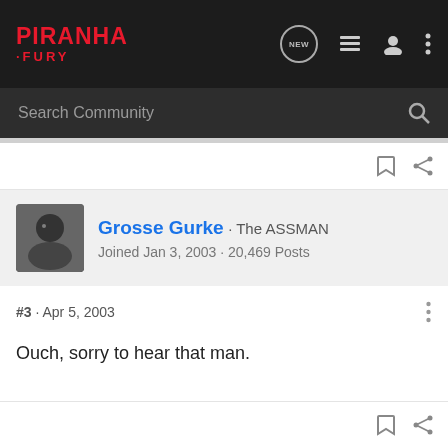PIRANHA FURY — navigation bar with logo, NEW chat icon, list icon, user icon, menu icon
Search Community
Grosse Gurke · The ASSMAN
Joined Jan 3, 2003 · 20,469 Posts
#3 · Apr 5, 2003
Ouch, sorry to hear that man.